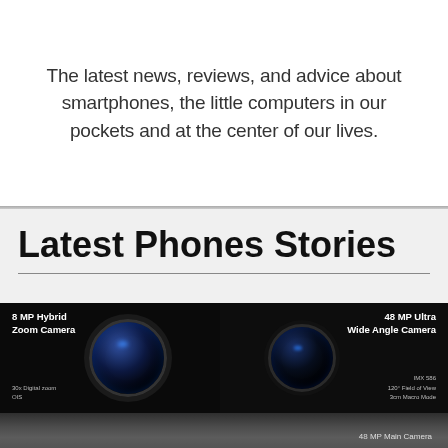The latest news, reviews, and advice about smartphones, the little computers in our pockets and at the center of our lives.
Latest Phones Stories
[Figure (photo): Smartphone camera module close-up showing two camera lenses on dark background. Left side: '8 MP Hybrid Zoom Camera' with '30x Digital zoom' and 'OIS'. Right side: '48 MP Ultra Wide Angle Camera' with 'IMX 586', '120° Field of View', '3cm Macro Mode'. Bottom: '48 MP Main Camera' label visible.]